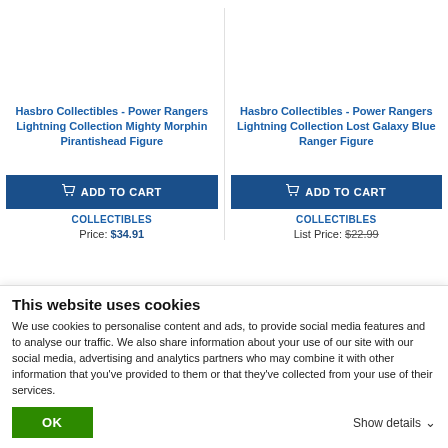Hasbro Collectibles - Power Rangers Lightning Collection Mighty Morphin Pirantishead Figure
Hasbro Collectibles - Power Rangers Lightning Collection Lost Galaxy Blue Ranger Figure
ADD TO CART
ADD TO CART
COLLECTIBLES
Price: $34.91
COLLECTIBLES
List Price: $22.99
This website uses cookies
We use cookies to personalise content and ads, to provide social media features and to analyse our traffic. We also share information about your use of our site with our social media, advertising and analytics partners who may combine it with other information that you've provided to them or that they've collected from your use of their services.
OK
Show details